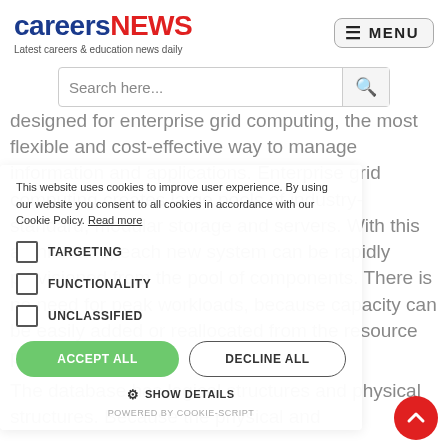[Figure (logo): careersNEWS logo with tagline 'Latest careers & education news daily']
[Figure (screenshot): Search bar with 'Search here...' placeholder and search icon]
designed for enterprise grid computing, the most flexible and cost-effective way to manage information and applications. Enterprise grid computing creates large pools of industry-standard, modular storage and servers. With this architecture, each new system can be rapidly provisioned from the pool of components. There is no need for peak workloads, because capacity can be easily added or reallocated from the resource pools as needed.
This website uses cookies to improve user experience. By using our website you consent to all cookies in accordance with our Cookie Policy. Read more
TARGETING
FUNCTIONALITY
UNCLASSIFIED
ACCEPT ALL
DECLINE ALL
SHOW DETAILS
POWERED BY COOKIE-SCRIPT
The database has logical structures and physical structures. Because the physical and